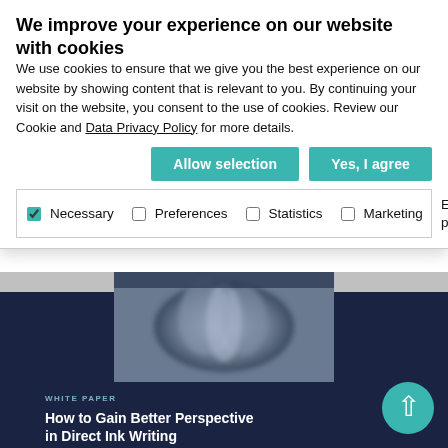We improve your experience on our website with cookies
We use cookies to ensure that we give you the best experience on our website by showing content that is relevant to you. By continuing your visit on the website, you consent to the use of cookies. Review our Cookie and Data Privacy Policy for more details.
Allow selection | Yes, I agree
Necessary  Preferences  Statistics  Marketing  Edit your preferences
[Figure (screenshot): Background screenshot of a website showing a white paper titled 'How to Gain Better Perspective in Direct Ink Writing with X-ray Microtomography' on a dark navy background, with a blurred screw/3D-printed object photo above the text.]